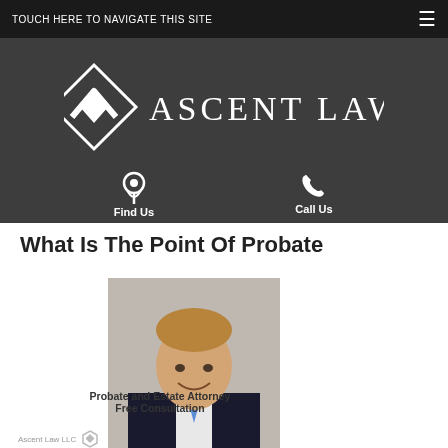TOUCH HERE TO NAVIGATE THIS SITE
[Figure (logo): Ascent Law logo with diamond chevron icon and text 'Ascent Law']
Find Us
Call Us
What Is The Point Of Probate
[Figure (photo): Professional headshot of a man in a dark suit with a blue tie, smiling]
Probate and Estate Attorney Free Consultation
Ascent Law LLC